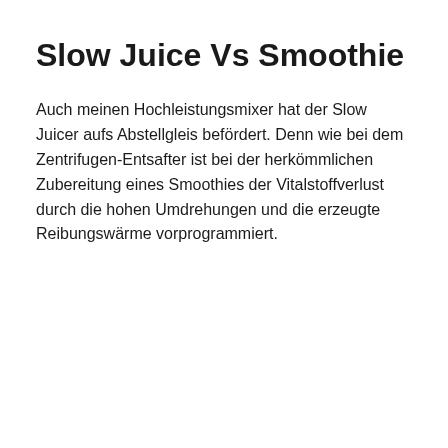Slow Juice Vs Smoothie
Auch meinen Hochleistungsmixer hat der Slow Juicer aufs Abstellgleis befördert. Denn wie bei dem Zentrifugen-Entsafter ist bei der herkömmlichen Zubereitung eines Smoothies der Vitalstoffverlust durch die hohen Umdrehungen und die erzeugte Reibungswärme vorprogrammiert.